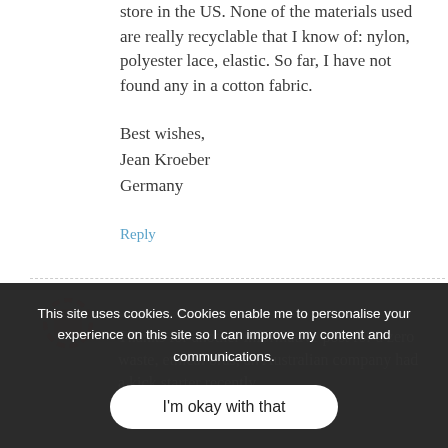store in the US. None of the materials used are really recyclable that I know of: nylon, polyester lace, elastic. So far, I have not found any in a cotton fabric.
Best wishes,
Jean Kroeber
Germany
Reply
This site uses cookies. Cookies enable me to personalise your experience on this site so I can improve my content and communications.
I'm okay with that
Thanks for another informative post for a zero waste, ethical bras, an Australian company had a kick starter recently.... https://theverygoodbra.com/ I got